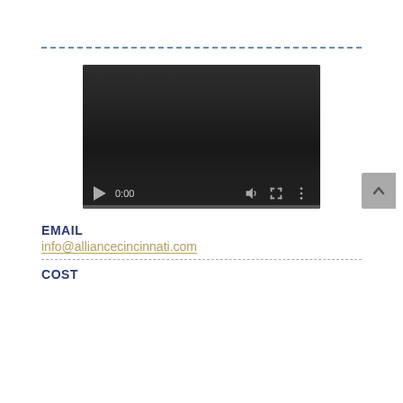[Figure (screenshot): Video player with dark background, showing controls: play button, time display 0:00, volume icon, fullscreen icon, more options icon, and a progress bar at the bottom.]
EMAIL
info@alliancecincinnati.com
COST